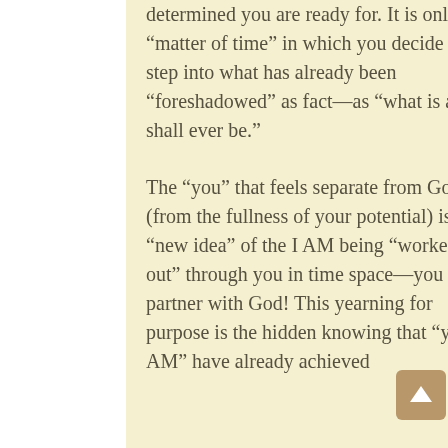determined you are ready for. It is only a “matter of time” in which you decide to step into what has already been “foreshadowed” as fact—as “what is and shall ever be.”
The “you” that feels separate from God (from the fullness of your potential) is that “new idea” of the I AM being “worked out” through you in time space—you are a partner with God! This yearning for purpose is the hidden knowing that “you/I AM” have already achieved